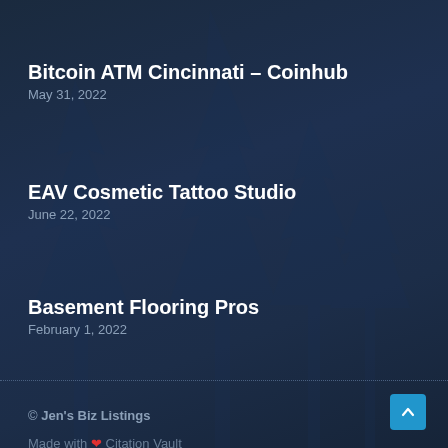Bitcoin ATM Cincinnati – Coinhub
May 31, 2022
EAV Cosmetic Tattoo Studio
June 22, 2022
Basement Flooring Pros
February 1, 2022
© Jen's Biz Listings
Made with ❤ Citation Vault